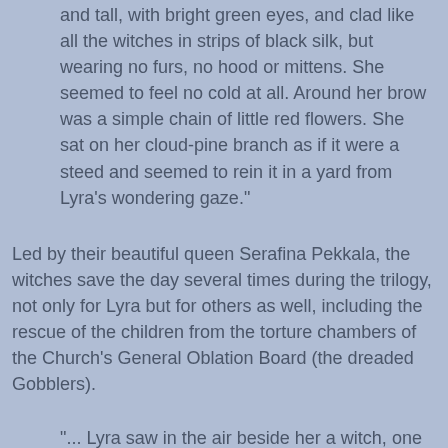and tall, with bright green eyes, and clad like all the witches in strips of black silk, but wearing no furs, no hood or mittens. She seemed to feel no cold at all. Around her brow was a simple chain of little red flowers. She sat on her cloud-pine branch as if it were a steed and seemed to rein it in a yard from Lyra's wondering gaze."
Led by their beautiful queen Serafina Pekkala, the witches save the day several times during the trilogy, not only for Lyra but for others as well, including the rescue of the children from the torture chambers of the Church's General Oblation Board (the dreaded Gobblers).
"... Lyra saw in the air beside her a witch, one of those elegant black shadows from the high air, but close enough to touch; and there was a bow in the witch's bare hands, and she exerted her bare pale arms (in the freezing air!) to pull the string and then loose an arrow into the eye slit of a mailed and lowering Tartar hood only three feet